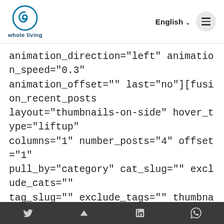whole living | English | menu
animation_direction="left" animation_speed="0.3" animation_offset="" last="no"][fusion_recent_posts layout="thumbnails-on-side" hover_type="liftup" columns="1" number_posts="4" offset="1" pull_by="category" cat_slug="" exclude_cats="" tag_slug="" exclude_tags="" thumbnail="yes" title="yes" meta="yes" excerpt="yes" excerpt_length="34" strip_html="yes" hide_on_mobile="small-visibility,medium-
We use cookies on our website to provide you a better service. By continuing to use our website, you consent to our cookie policy. Learn more | Accept